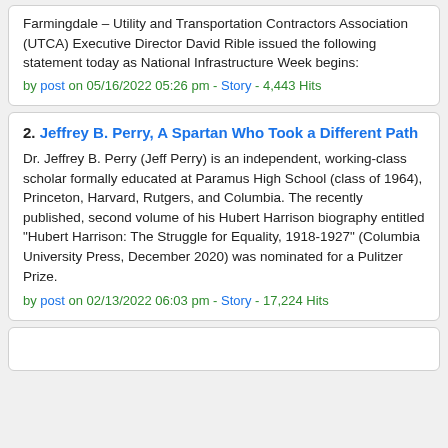Farmingdale – Utility and Transportation Contractors Association (UTCA) Executive Director David Rible issued the following statement today as National Infrastructure Week begins:
by post on 05/16/2022 05:26 pm - Story - 4,443 Hits
2. Jeffrey B. Perry, A Spartan Who Took a Different Path
Dr. Jeffrey B. Perry (Jeff Perry) is an independent, working-class scholar formally educated at Paramus High School (class of 1964), Princeton, Harvard, Rutgers, and Columbia. The recently published, second volume of his Hubert Harrison biography entitled "Hubert Harrison: The Struggle for Equality, 1918-1927" (Columbia University Press, December 2020) was nominated for a Pulitzer Prize.
by post on 02/13/2022 06:03 pm - Story - 17,224 Hits